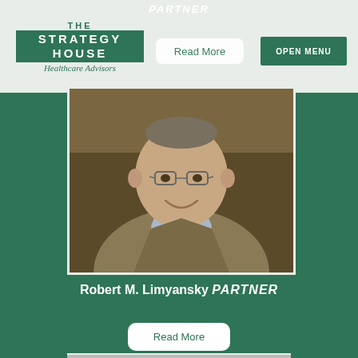PARTNER
[Figure (logo): The Strategy House Healthcare Advisors logo with green box and script tagline]
Read More
OPEN MENU
[Figure (photo): Professional headshot of Robert M. Limyansky, a middle-aged man with glasses wearing a tan blazer and light blue shirt, smiling, against a dark brown background]
Robert M. Limyansky PARTNER
Read More